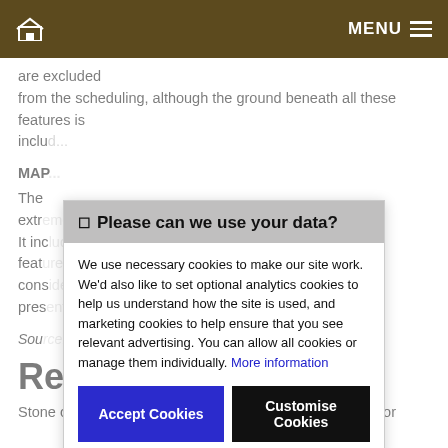MENU
are excluded from the scheduling, although the ground beneath all these features is included
MAP
The ... extremely ... It includes features ... considered ... present ...
Sou...
Re...
Stone circles are prehistoric monuments comprising one or ...